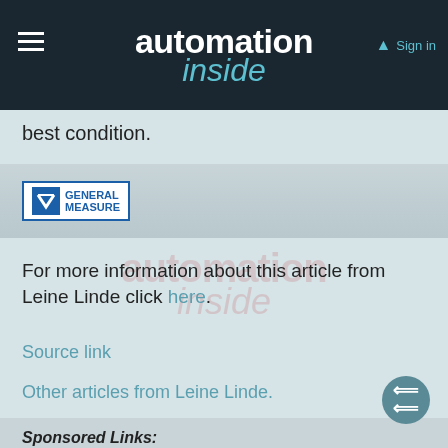automation inside — Sign in
best condition.
[Figure (logo): General Measure company logo — blue bordered rectangle with stylized arrow icon and 'GENERAL MEASURE' text]
[Figure (illustration): Watermark reading 'automation inside' in transparent red-pink text]
For more information about this article from Leine Linde click here.
Source link
Other articles from Leine Linde.
Sponsored Links: